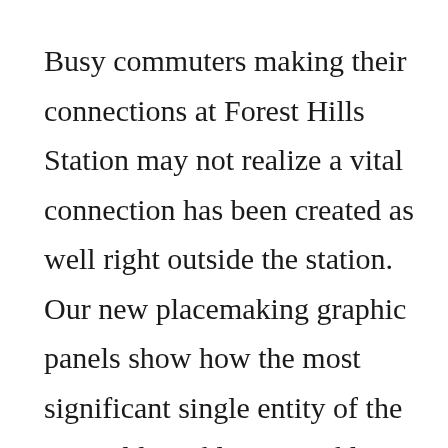Busy commuters making their connections at Forest Hills Station may not realize a vital connection has been created as well right outside the station. Our new placemaking graphic panels show how the most significant single entity of the Emerald Necklace, Franklin Park, has reclaimed its place as the pendant. The Necklace, a series of inter-connected urban greenspaces, was designed by the famous landscape architect Frederick Law Olmsted in the 1890s.